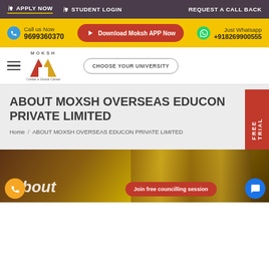APPLY NOW | STUDENT LOGIN | REQUEST A CALL BACK
Call us Now 9699360370 | Download Moksh APP Now | Just Whatsapp +918269900555
[Figure (logo): Moksh logo with red and yellow M shape and tagline Create a Global Career]
CHOOSE YOUR UNIVERSITY
ABOUT MOXSH OVERSEAS EDUCON PRIVATE LIMITED
Home / ABOUT MOXSH OVERSEAS EDUCON PRIVATE LIMITED
[Figure (photo): Background image of stacked books with warm brown/gold tones. Overlay text: About. Bottom buttons: Join free councilling session, phone FAB, chat FAB.]